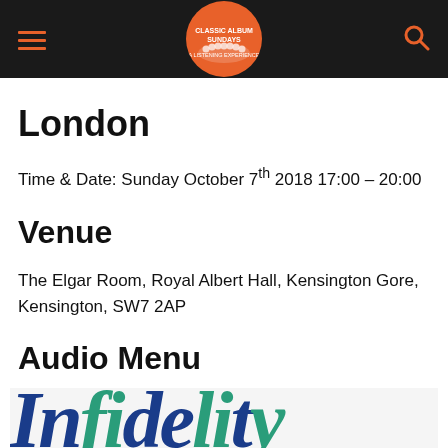Classic Album Sundays — navigation header
London
Time & Date: Sunday October 7th 2018 17:00 – 20:00
Venue
The Elgar Room, Royal Albert Hall, Kensington Gore, Kensington, SW7 2AP
Audio Menu
Installed by Infidelity and featuring Bowers & Wilkins
[Figure (logo): Infidelity logo in blue and teal italic serif letters, partially visible at bottom of page]